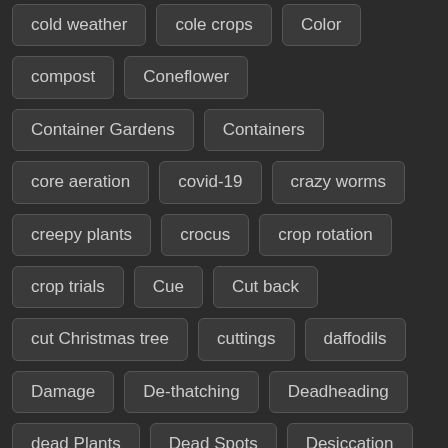cold weather
cole crops
Color
compost
Coneflower
Container Gardens
Containers
core aeration
covid-19
crazy worms
creepy plants
crocus
crop rotation
crop trials
Cue
Cut back
cut Christmas tree
cuttings
daffodils
Damage
De-thatching
Deadheading
dead Plants
Dead Spots
Desiccation
Desktop
Dig
Digging
Disease